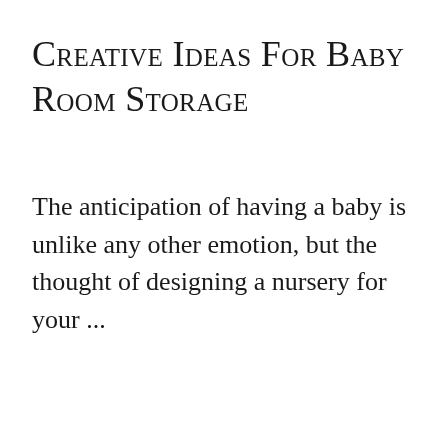Creative Ideas For Baby Room Storage
The anticipation of having a baby is unlike any other emotion, but the thought of designing a nursery for your ...